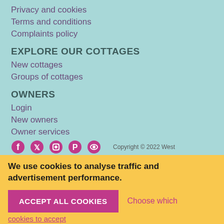Privacy and cookies
Terms and conditions
Complaints policy
EXPLORE OUR COTTAGES
New cottages
Groups of cottages
OWNERS
Login
New owners
Owner services
Copyright © 2022 West
We use cookies to analyse traffic and advertisement performance.
ACCEPT ALL COOKIES
Choose which cookies to accept